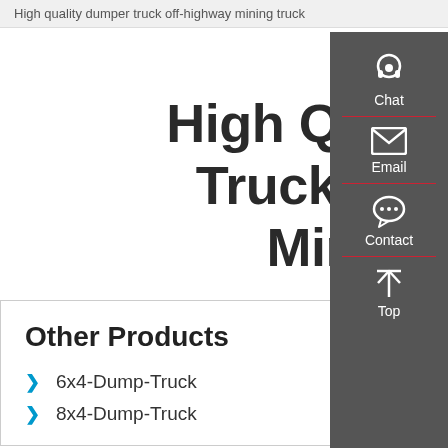High quality dumper truck off-highway mining truck
High Quality Dumper Truck Off-Highway Mining Truck
Other Products
6x4-Dump-Truck
8x4-Dump-Truck